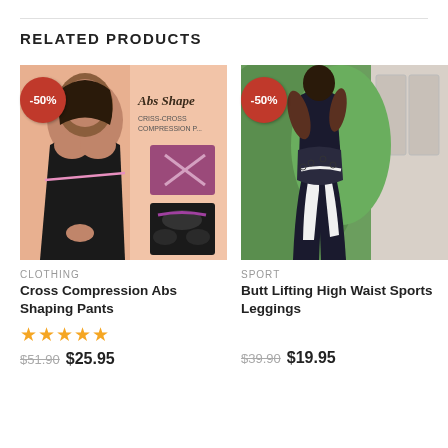RELATED PRODUCTS
[Figure (photo): Product photo of Cross Compression Abs Shaping Pants with -50% badge. Shows woman wearing black bodysuit shapewear and product collage with cross compression details.]
CLOTHING
Cross Compression Abs Shaping Pants
★★★★★
$51.90  $25.95
[Figure (photo): Product photo of Butt Lifting High Waist Sports Leggings with -50% badge. Shows woman from behind wearing black and white patterned sports leggings.]
SPORT
Butt Lifting High Waist Sports Leggings
$39.90  $19.95